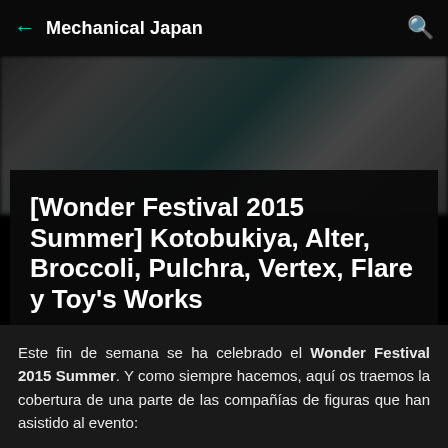← Mechanical Japan 🔍
[Figure (photo): Blurred background photo, bokeh effect with dark greenish/warm tones]
[Wonder Festival 2015 Summer] Kotobukiya, Alter, Broccoli, Pulchra, Vertex, Flare y Toy's Works
el domingo, julio 26, 2015
[Figure (other): Red share icon (less-than / share symbol)]
Este fin de semana se ha celebrado el Wonder Festival 2015 Summer. Y como siempre hacemos, aquí os traemos la cobertura de una parte de las compañías de figuras que han asistido al evento: